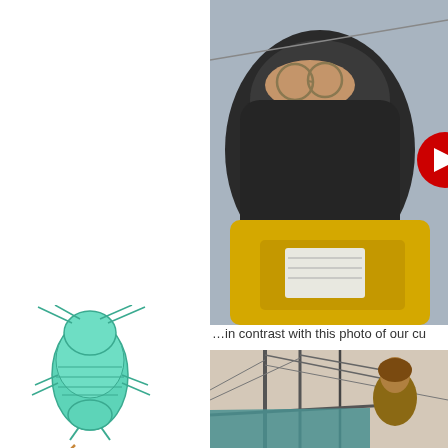[Figure (photo): Close-up photo of a person heavily bundled in cold weather gear including a dark balaclava and glasses, wearing a yellow safety vest/life jacket, appearing to be on a boat in cold conditions. A red circular element is partially visible at the right edge.]
…in contrast with this photo of our cu
[Figure (photo): Photo of a person on a sailing vessel with rigging/masts visible, appearing to be in warmer conditions.]
[Figure (illustration): Illustrated drawing of a copepod (small crustacean/zooplankton) in teal/turquoise color with legs/antennae drawn in brownish orange, shown in a diagonal zigzag swimming pattern typical of copepods.]
Plankton Every Day is a blog by Kate Zidar about citizen science and untethered living. These are my micro and macro observations about the daily practice of staying afloat!